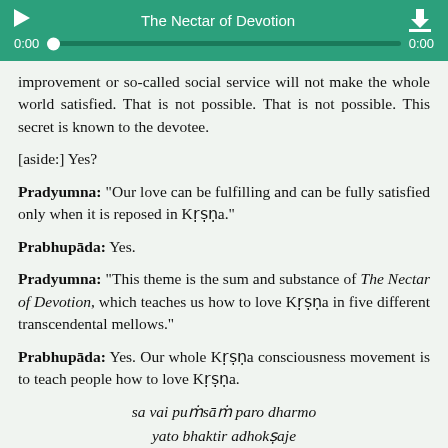[Figure (screenshot): Audio player bar with green background showing title 'The Nectar of Devotion', play button, progress bar, timestamps 0:00 and 0:00, and download icon]
improvement or so-called social service will not make the whole world satisfied. That is not possible. That is not possible. This secret is known to the devotee.
[aside:] Yes?
Pradyumna: "Our love can be fulfilling and can be fully satisfied only when it is reposed in Kṛṣṇa."
Prabhupāda: Yes.
Pradyumna: "This theme is the sum and substance of The Nectar of Devotion, which teaches us how to love Kṛṣṇa in five different transcendental mellows."
Prabhupāda: Yes. Our whole Kṛṣṇa consciousness movement is to teach people how to love Kṛṣṇa.
sa vai puṁsāṁ paro dharmo
yato bhaktir adhokṣaje